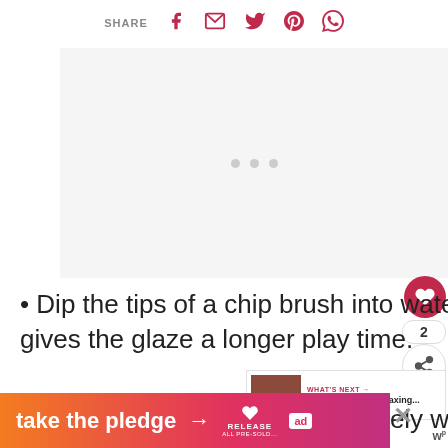SHARE
[Figure (photo): Image placeholder area with three gray dots indicating a loading/slideshow image]
Dip the tips of a chip brush into water first and then the glaze. It gives the glaze a longer play time.
Work in sections and immediately wine
[Figure (infographic): What's Next promotional thumbnail: How To Build A Relaxing...]
[Figure (infographic): Ad banner: take the pledge with arrow, RELEASE logo and ad badge]